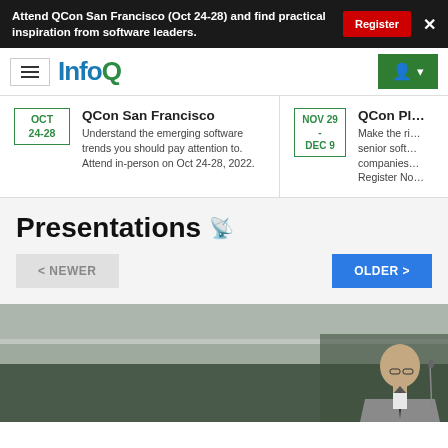Attend QCon San Francisco (Oct 24-28) and find practical inspiration from software leaders. Register ×
[Figure (logo): InfoQ logo with hamburger menu and user icon]
QCon San Francisco — OCT 24-28 — Understand the emerging software trends you should pay attention to. Attend in-person on Oct 24-28, 2022.
QCon Pl... — NOV 29 - DEC 9 — Make the ri... senior soft... companies... Register No...
Presentations
< NEWER    OLDER >
[Figure (photo): A man in a suit presenting at a conference, standing in front of a green board]